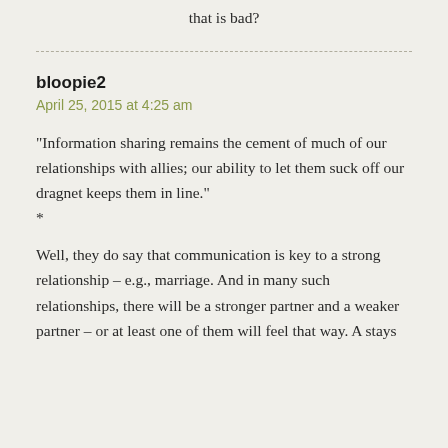that is bad?
bloopie2
April 25, 2015 at 4:25 am
“Information sharing remains the cement of much of our relationships with allies; our ability to let them suck off our dragnet keeps them in line.”
*
Well, they do say that communication is key to a strong relationship – e.g., marriage. And in many such relationships, there will be a stronger partner and a weaker partner – or at least one of them will feel that way. A stays